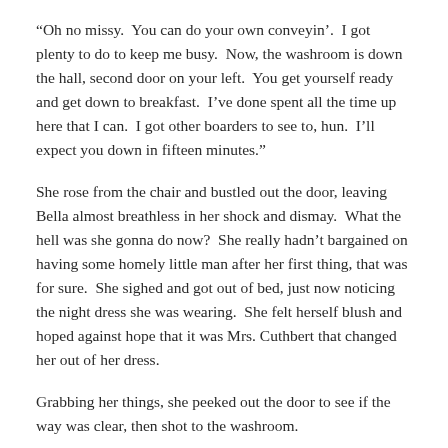“Oh no missy.  You can do your own conveyin’.  I got plenty to do to keep me busy.  Now, the washroom is down the hall, second door on your left.  You get yourself ready and get down to breakfast.  I’ve done spent all the time up here that I can.  I got other boarders to see to, hun.  I’ll expect you down in fifteen minutes.”
She rose from the chair and bustled out the door, leaving Bella almost breathless in her shock and dismay.  What the hell was she gonna do now?  She really hadn’t bargained on having some homely little man after her first thing, that was for sure.  She sighed and got out of bed, just now noticing the night dress she was wearing.  She felt herself blush and hoped against hope that it was Mrs. Cuthbert that changed her out of her dress.
Grabbing her things, she peeked out the door to see if the way was clear, then shot to the washroom.